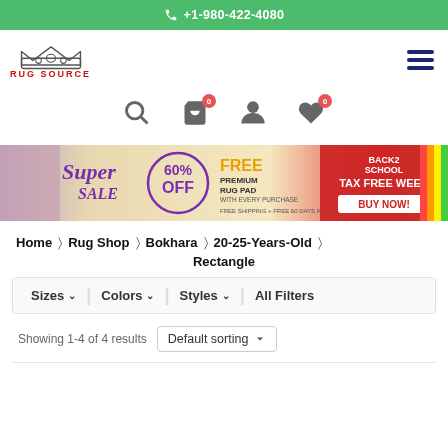+1-980-422-4080
[Figure (logo): Rug Source logo with crown icon and red text 'RUG SOURCE']
[Figure (infographic): Super Sale banner: 60% OFF, FREE PREMIUM RUG PAD WITH EVERY PURCHASE, FREE SHIPPING + FREE 60 DAYS RETURN, BACK2SCHOOL TAX FREE WEEK BUY NOW!]
Home > Rug Shop > Bokhara > 20-25-Years-Old > Rectangle
Sizes ∨   Colors ∨   Styles ∨   All Filters
Showing 1-4 of 4 results   Default sorting